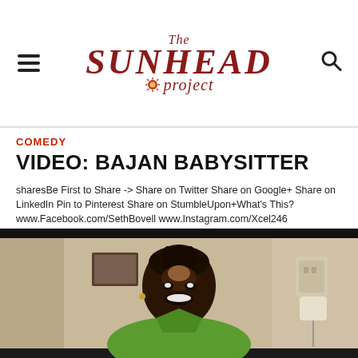The Sunhead Project
COMEDY
VIDEO: BAJAN BABYSITTER
sharesBe First to Share -> Share on Twitter Share on Google+ Share on LinkedIn Pin to Pinterest Share on StumbleUpon+What's This? www.Facebook.com/SethBovell www.Instagram.com/Xcel246 www.SethBovell.com Share on Twitter Share on Google+...
[Figure (photo): Video thumbnail showing a person in a green shirt smiling at the camera, inside a room with beige walls and a wall outlet/adapter visible in the background.]